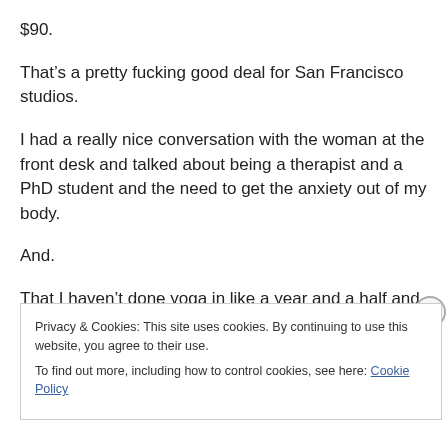$90.
That’s a pretty fucking good deal for San Francisco studios.
I had a really nice conversation with the woman at the front desk and talked about being a therapist and a PhD student and the need to get the anxiety out of my body.
And.
That I haven’t done yoga in like a year and a half and that [text cut off]
Privacy & Cookies: This site uses cookies. By continuing to use this website, you agree to their use.
To find out more, including how to control cookies, see here: Cookie Policy